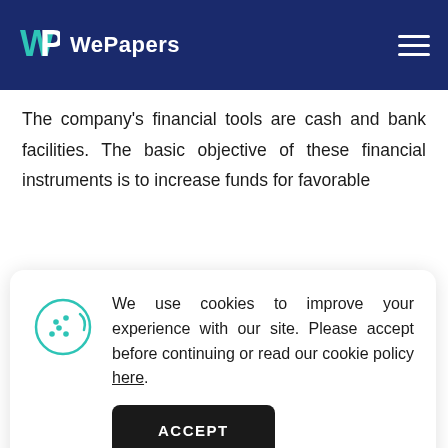WePapers
The company's financial tools are cash and bank facilities. The basic objective of these financial instruments is to increase funds for favorable
[Figure (other): Cookie consent banner with cookie icon, text reading 'We use cookies to improve your experience with our site. Please accept before continuing or read our cookie policy here.', and an ACCEPT button.]
shows their consent to handling every risk factor. The application of compensation practice helps in gauging the impact of these negative variables on the company and its stakeholders as well.